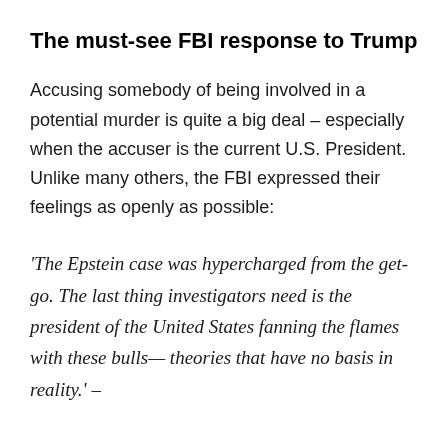The must-see FBI response to Trump
Accusing somebody of being involved in a potential murder is quite a big deal – especially when the accuser is the current U.S. President. Unlike many others, the FBI expressed their feelings as openly as possible:
‘The Epstein case was hypercharged from the get-go. The last thing investigators need is the president of the United States fanning the flames with these bulls— theories that have no basis in reality.’ –